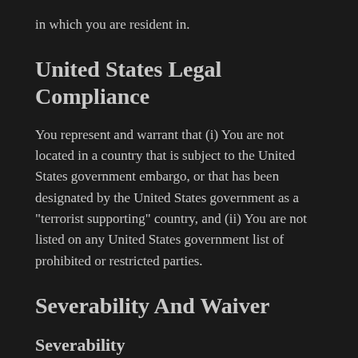in which you are resident in.
United States Legal Compliance
You represent and warrant that (i) You are not located in a country that is subject to the United States government embargo, or that has been designated by the United States government as a "terrorist supporting" country, and (ii) You are not listed on any United States government list of prohibited or restricted parties.
Severability And Waiver
Severability
If any provision of these Terms is held to be unenforceable or invalid, such provision will be changed